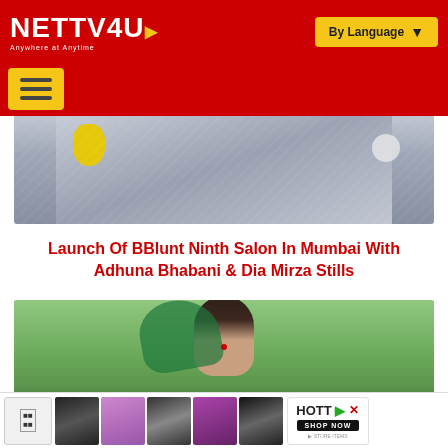NETTV4U — Anywhere at Anytime | By Language
[Figure (photo): Photo of a person wearing a grey floral dress, with yellow decorative object and white object visible in background]
Launch Of BBlunt Ninth Salon In Mumbai With Adhuna Bhabani & Dia Mirza Stills
[Figure (photo): Photo of a woman wearing a green dupatta/headscarf with a red bindi, surrounded by green foliage background]
[Figure (infographic): Bottom advertisement bar with thumbnail images and HOTT shop now banner]